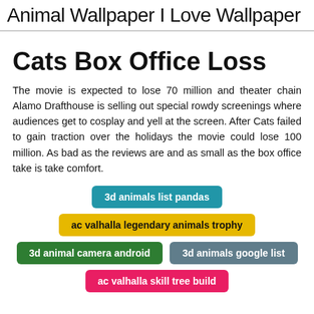Animal Wallpaper I Love Wallpaper
Cats Box Office Loss
The movie is expected to lose 70 million and theater chain Alamo Drafthouse is selling out special rowdy screenings where audiences get to cosplay and yell at the screen. After Cats failed to gain traction over the holidays the movie could lose 100 million. As bad as the reviews are and as small as the box office take is take comfort.
3d animals list pandas
ac valhalla legendary animals trophy
3d animal camera android
3d animals google list
ac valhalla skill tree build